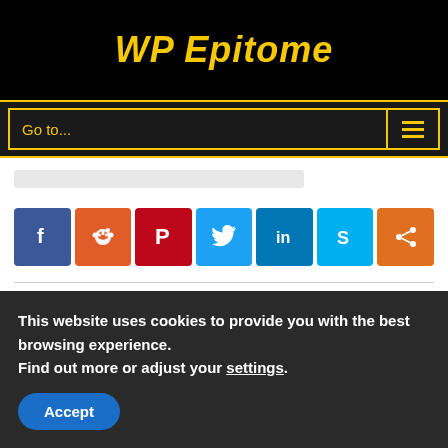WP Epitome
[Figure (screenshot): Navigation bar with 'Go to...' text and hamburger menu icon, bordered in yellow on dark background]
[Figure (infographic): Social sharing icons: Facebook (blue), Reddit (orange), Pinterest (red), Twitter (light blue), LinkedIn (dark blue), Skype (light blue), Share (orange)]
By Adam Connell | October 5th, 2021 | Blog, blogging, Business, Content Marketing, News, Resources, WordPress | 0 Comments
This website uses cookies to provide you with the best browsing experience.
Find out more or adjust your settings.